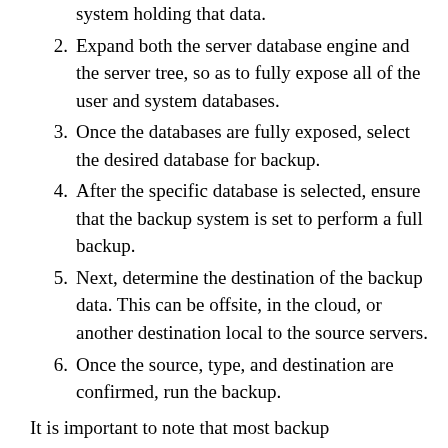system holding that data.
2. Expand both the server database engine and the server tree, so as to fully expose all of the user and system databases.
3. Once the databases are fully exposed, select the desired database for backup.
4. After the specific database is selected, ensure that the backup system is set to perform a full backup.
5. Next, determine the destination of the backup data. This can be offsite, in the cloud, or another destination local to the source servers.
6. Once the source, type, and destination are confirmed, run the backup.
It is important to note that most backup